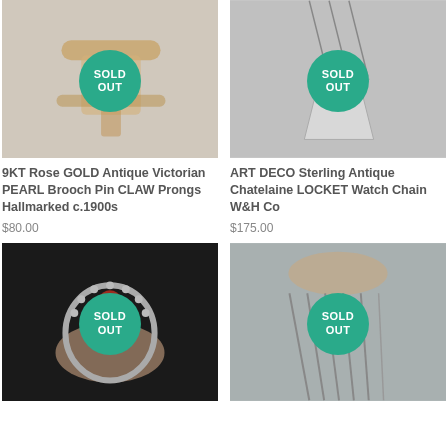[Figure (photo): Rose gold antique brooch pin with SOLD OUT badge overlay]
[Figure (photo): Sterling silver ART DECO chatelaine locket watch chain with SOLD OUT badge overlay]
9KT Rose GOLD Antique Victorian PEARL Brooch Pin CLAW Prongs Hallmarked c.1900s
$80.00
ART DECO Sterling Antique Chatelaine LOCKET Watch Chain W&H Co
$175.00
[Figure (photo): Silver ring with red oval stone, held in fingers, with SOLD OUT badge overlay]
[Figure (photo): Silver chain necklace held in hand with SOLD OUT badge overlay]